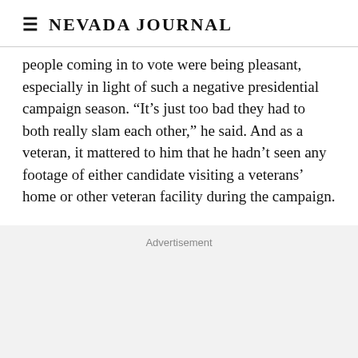Nevada Journal
people coming in to vote were being pleasant, especially in light of such a negative presidential campaign season. “It’s just too bad they had to both really slam each other,” he said. And as a veteran, it mattered to him that he hadn’t seen any footage of either candidate visiting a veterans’ home or other veteran facility during the campaign.
Advertisement